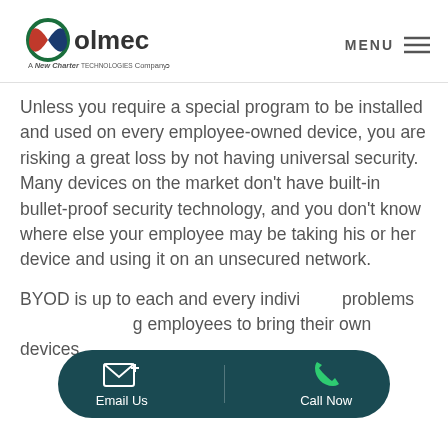[Figure (logo): Olmec logo — circular icon in green/red/dark blue with 'olmec' text and tagline 'A New Charter Technologies Company']
Unless you require a special program to be installed and used on every employee-owned device, you are risking a great loss by not having universal security. Many devices on the market don't have built-in bullet-proof security technology, and you don't know where else your employee may be taking his or her device and using it on an unsecured network.
BYOD is up to each and every individual business, and the problem with allowing employees to bring their own devices
[Figure (infographic): Dark teal rounded pill-shaped CTA bar with two buttons: 'Email Us' (envelope icon) on the left and 'Call Now' (phone icon in green) on the right]